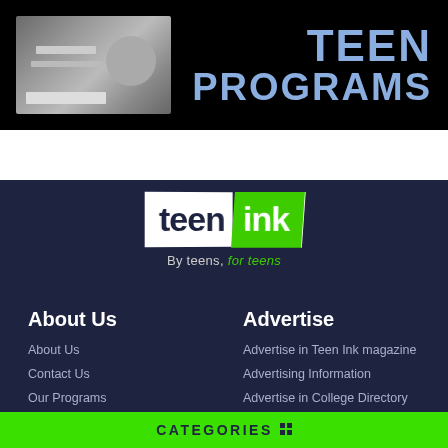[Figure (photo): Top banner with black background showing a photo of two people (teens) working at a desk with a keyboard/computer, alongside bold light-blue text reading TEEN PROGRAMS]
[Figure (logo): Teen Ink logo — 'teen' in dark text on white parallelogram shape, 'ink' in white text on green parallelogram shape, tagline 'By teens, for teens' below]
About Us
About Us
Contact Us
Our Programs
Celebrity Support
Advertise
Advertise in Teen Ink magazine
Advertising Information
Advertise in College Directory
Advertise in Summer Directory
CATEGORIES